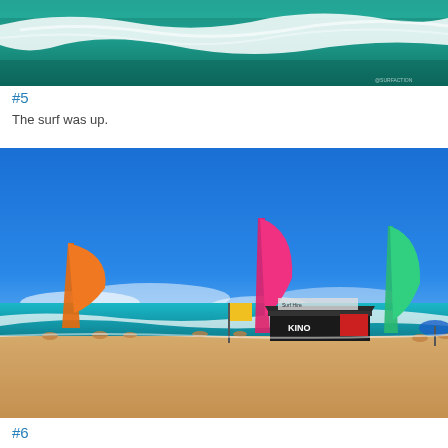[Figure (photo): Close-up of a large ocean wave with teal/green water and white foam, watermark visible in bottom-right corner]
#5
The surf was up.
[Figure (photo): Beach scene with bright blue sky, turquoise ocean, sandy shore, colorful tall feather flags (orange, pink, teal), a dark vendor tent with KINO branding, yellow flag, and people on the beach]
#6